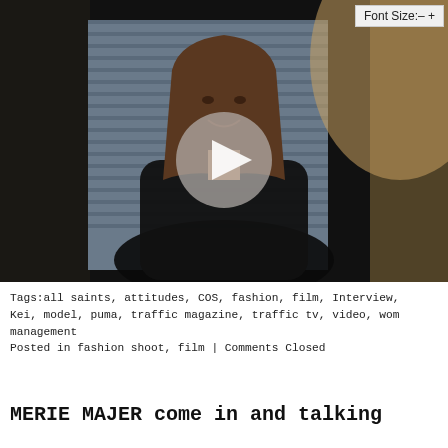[Figure (photo): A smiling woman with long brown hair wearing a black top, seated near a window with shutters, with a video play button overlay in the center of the image. The image serves as a video thumbnail.]
Font Size:– +
Tags:all saints, attitudes, COS, fashion, film, Interview, Kei, model, puma, traffic magazine, traffic tv, video, wom management
Posted in fashion shoot, film | Comments Closed
MERIE MAJER come in and talking